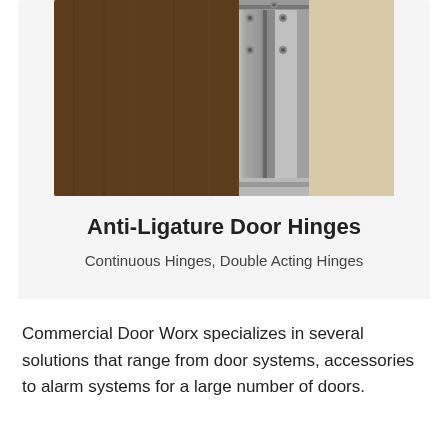[Figure (photo): Close-up photo of an anti-ligature door hinge mechanism, showing metal continuous hinge hardware mounted on a dark wood door against a beige wall frame.]
Anti-Ligature Door Hinges
Continuous Hinges, Double Acting Hinges
Commercial Door Worx specializes in several solutions that range from door systems, accessories to alarm systems for a large number of doors.